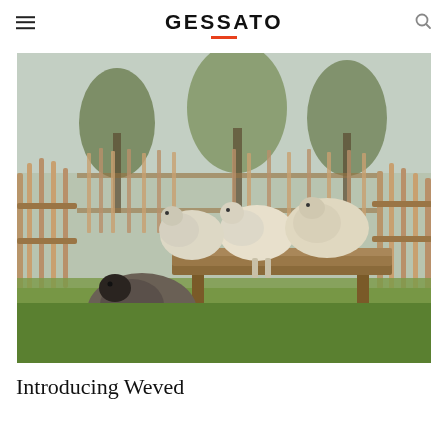GESSATO
[Figure (photo): Four sheep in a farm pen with wooden fence and trees in background. Three sheep stand on a raised wooden platform while one dark sheep stands below on grass.]
Introducing Weved